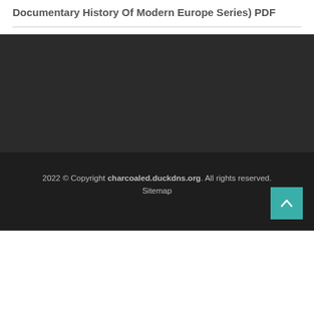Documentary History Of Modern Europe Series) PDF
2022 © Copyright charcoaled.duckdns.org. All rights reserved. Sitemap